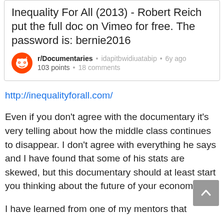Inequality For All (2013) - Robert Reich put the full doc on Vimeo for free. The password is: bernie2016
r/Documentaries • idapitbwidiuatabip • 6y ago
103 points • 18 comments
http://inequalityforall.com/
Even if you don't agree with the documentary it's very telling about how the middle class continues to disappear. I don't agree with everything he says and I have found that some of his stats are skewed, but this documentary should at least start you thinking about the future of your economic life.
I have learned from one of my mentors that